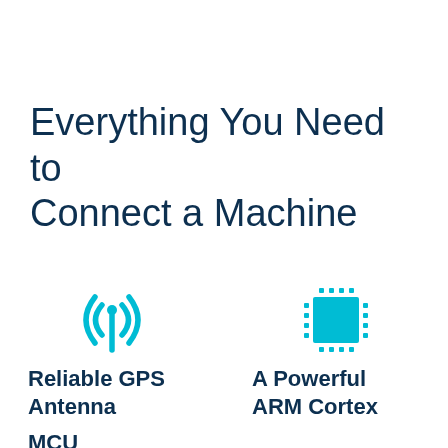Everything You Need to Connect a Machine
[Figure (illustration): Cyan radio signal / broadcast icon with antenna and radiating arcs]
[Figure (illustration): Cyan microchip / MCU icon with dotted border and square chip body]
Reliable GPS Antenna
A Powerful ARM Cortex
MCU